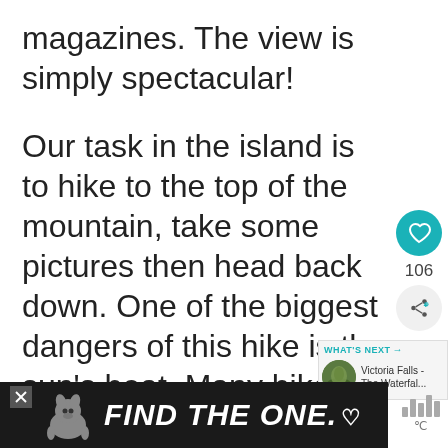magazines. The view is simply spectacular!
Our task in the island is to hike to the top of the mountain, take some pictures then head back down. One of the biggest dangers of this hike is the sun's heat. Many hike were greatly affected by
[Figure (screenshot): Side UI panel with heart/like button (teal circle with heart icon), like count '106', and share button]
[Figure (screenshot): What's Next panel with teal arrow label, circular thumbnail of green landscape, and text 'Victoria Falls - The Waterfal...']
[Figure (screenshot): Dark advertisement banner showing a dog image on left, bold italic white text 'FIND THE ONE.' with a heart symbol, and a close X button]
[Figure (screenshot): Weather widget with bar graph icons and temperature degree symbol]